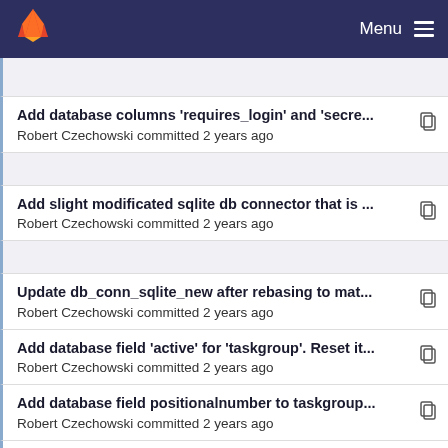Menu
Add database columns 'requires_login' and 'secre... — Robert Czechowski committed 2 years ago
Add slight modificated sqlite db connector that is ... — Robert Czechowski committed 2 years ago
Update db_conn_sqlite_new after rebasing to mat... — Robert Czechowski committed 2 years ago
Add database field 'active' for 'taskgroup'. Reset it... — Robert Czechowski committed 2 years ago
Add database field positionalnumber to taskgroup... — Robert Czechowski committed 2 years ago
Make sqlite code and postgres code structurally ... — Robert Czechowski committed 2 years ago